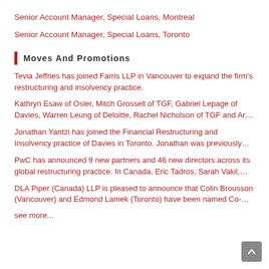Senior Account Manager, Special Loans, Montreal
Senior Account Manager, Special Loans, Toronto
Moves And Promotions
Tevia Jeffries has joined Farris LLP in Vancouver to expand the firm's restructuring and insolvency practice.
Kathryn Esaw of Osler, Mitch Grossell of TGF, Gabriel Lepage of Davies, Warren Leung of Deloitte, Rachel Nicholson of TGF and Ar…
Jonathan Yantzi has joined the Financial Restructuring and Insolvency practice of Davies in Toronto. Jonathan was previously…
PwC has announced 9 new partners and 46 new directors across its global restructuring practice. In Canada, Eric Tadros, Sarah Vakil,…
DLA Piper (Canada) LLP is pleased to announce that Colin Brousson (Vancouver) and Edmond Lamek (Toronto) have been named Co-…
see more...